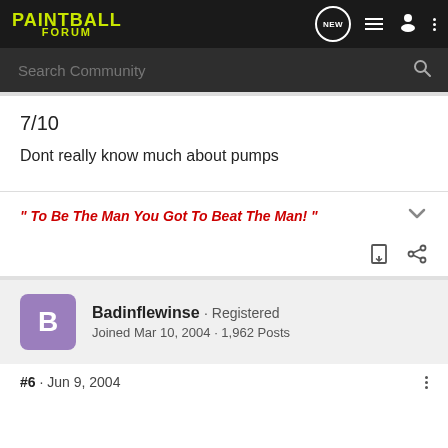PAINTBALL FORUM
Search Community
7/10
Dont really know much about pumps
" To Be The Man You Got To Beat The Man! "
Badinflewinse · Registered
Joined Mar 10, 2004 · 1,962 Posts
#6 · Jun 9, 2004